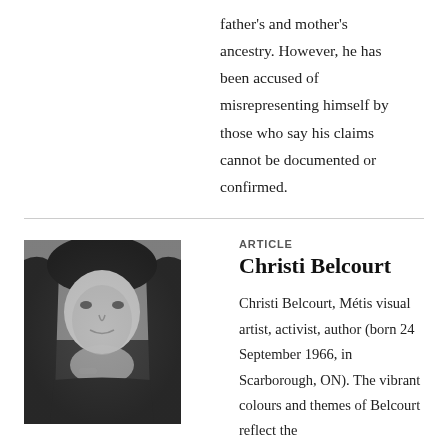father's and mother's ancestry. However, he has been accused of misrepresenting himself by those who say his claims cannot be documented or confirmed.
[Figure (photo): Black and white portrait photo of Christi Belcourt, a woman with long dark hair, resting her chin on her clasped hands, wearing a bracelet.]
ARTICLE
Christi Belcourt
Christi Belcourt, Métis visual artist, activist, author (born 24 September 1966, in Scarborough, ON). The vibrant colours and themes of Belcourt reflect the...